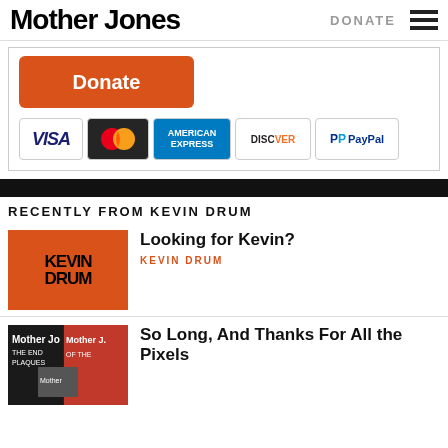Mother Jones | DONATE
[Figure (screenshot): Donate button (orange rounded rectangle) with payment method icons: VISA, MasterCard, American Express, Discover, PayPal]
RECENTLY FROM KEVIN DRUM
[Figure (illustration): Orange background with KEVIN DRUM logo text in black]
Looking for Kevin?
KEVIN DRUM
[Figure (photo): Mother Jones magazine covers collage]
So Long, And Thanks For All the Pixels